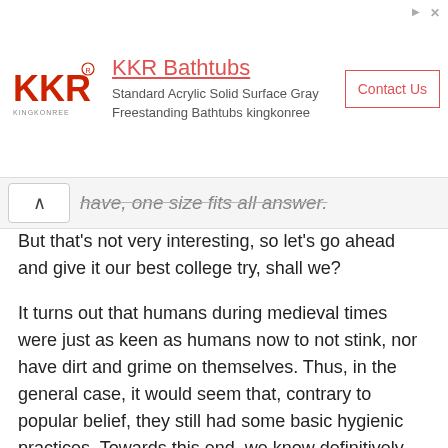[Figure (other): Advertisement banner for KKR Bathtubs (Kingkonree). Logo on left, ad title 'KKR Bathtubs' in red/pink, subtitle 'Standard Acrylic Solid Surface Gray Freestanding Bathtubs kingkonree', and a red-bordered 'Contact Us' button on the right.]
have, one size fits all answer.
But that’s not very interesting, so let’s go ahead and give it our best college try, shall we?
It turns out that humans during medieval times were just as keen as humans now to not stink, nor have dirt and grime on themselves. Thus, in the general case, it would seem that, contrary to popular belief, they still had some basic hygienic practices. Towards this end, we know definitively from surviving texts that people did bathe in some form reasonably regularly, generally varying based on their circumstances.
For example, it appears at the minimum washing one’s face, hands, and cleaning one’s teeth was extremely